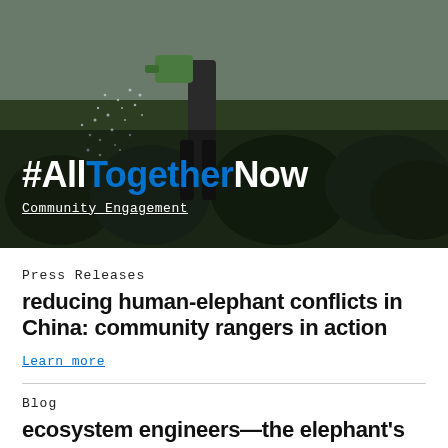[Figure (photo): Person watering plants outdoors, greenery in background, with #AllTogetherNow text overlay and Community Engagement label]
#AllTogetherNow
Community Engagement
Press Releases
reducing human-elephant conflicts in China: community rangers in action
Learn more
Blog
ecosystem engineers—the elephant's